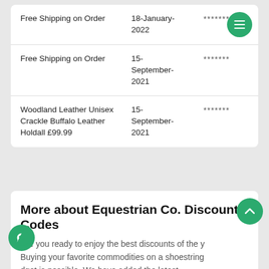| Description | Date | Code |
| --- | --- | --- |
| Free Shipping on Order | 18-January-2022 | ******* |
| Free Shipping on Order | 15-September-2021 | ******* |
| Woodland Leather Unisex Crackle Buffalo Leather Holdall £99.99 | 15-September-2021 | ******* |
More about Equestrian Co. Discount Codes
Are you ready to enjoy the best discounts of the y... Buying your favorite commodities on a shoestring budget is possible. We have added the latest Equestrian Co. coupon codes for our fans to save money and spend the right way. Now, bargain hunters